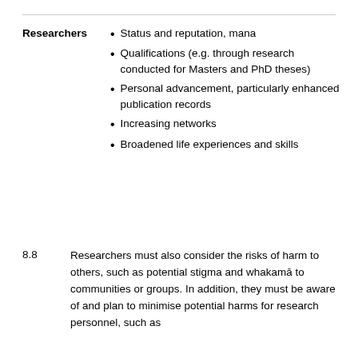Researchers — Status and reputation, mana
Qualifications (e.g. through research conducted for Masters and PhD theses)
Personal advancement, particularly enhanced publication records
Increasing networks
Broadened life experiences and skills
8.8   Researchers must also consider the risks of harm to others, such as potential stigma and whakamā to communities or groups. In addition, they must be aware of and plan to minimise potential harms for research personnel, such as